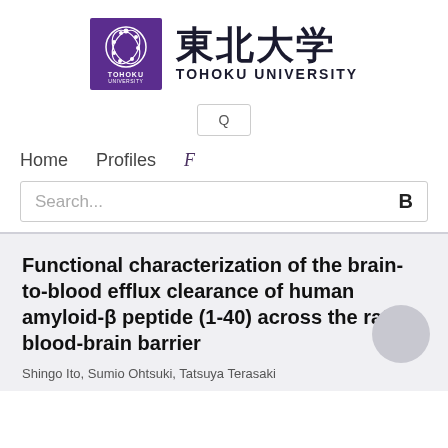[Figure (logo): Tohoku University logo: purple square with circular snake/DNA icon, Japanese kanji 東北大学 and text TOHOKU UNIVERSITY]
[Figure (screenshot): Search icon box with magnifying glass Q symbol]
Home   Profiles   F
Search...   B
Functional characterization of the brain-to-blood efflux clearance of human amyloid-β peptide (1-40) across the rat blood-brain barrier
Shingo Ito, Sumio Ohtsuki, Tatsuya Terasaki